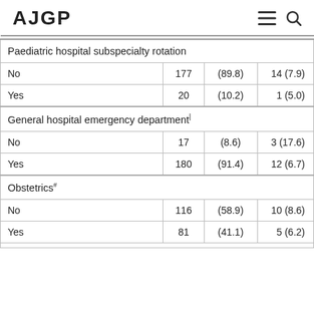AJGP
|  |  |  |  |
| --- | --- | --- | --- |
| Paediatric hospital subspecialty rotation |  |  |  |
| No | 177 | (89.8) | 14 (7.9) |
| Yes | 20 | (10.2) | 1 (5.0) |
| General hospital emergency department¹ |  |  |  |
| No | 17 | (8.6) | 3 (17.6) |
| Yes | 180 | (91.4) | 12 (6.7) |
| Obstetrics# |  |  |  |
| No | 116 | (58.9) | 10 (8.6) |
| Yes | 81 | (41.1) | 5 (6.2) |